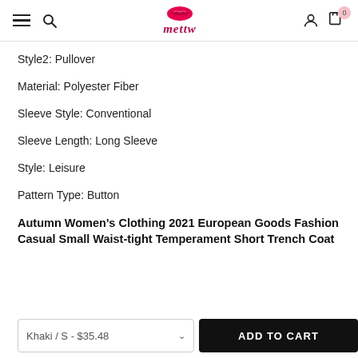mettw — navigation header with hamburger, search, logo, user, and cart icons
Style2: Pullover
Material: Polyester Fiber
Sleeve Style: Conventional
Sleeve Length: Long Sleeve
Style: Leisure
Pattern Type: Button
Autumn Women's Clothing 2021 European Goods Fashion Casual Small Waist-tight Temperament Short Trench Coat
Khaki / S - $35.48  ADD TO CART